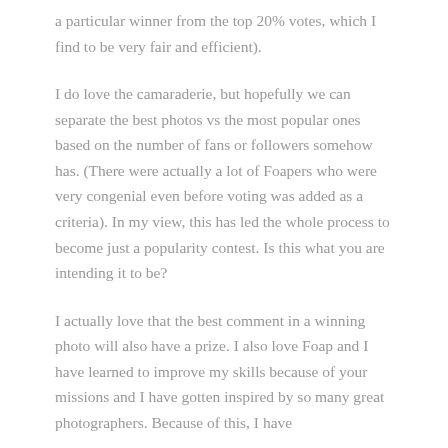a particular winner from the top 20% votes, which I find to be very fair and efficient).
I do love the camaraderie, but hopefully we can separate the best photos vs the most popular ones based on the number of fans or followers somehow has. (There were actually a lot of Foapers who were very congenial even before voting was added as a criteria). In my view, this has led the whole process to become just a popularity contest. Is this what you are intending it to be?
I actually love that the best comment in a winning photo will also have a prize. I also love Foap and I have learned to improve my skills because of your missions and I have gotten inspired by so many great photographers. Because of this, I have